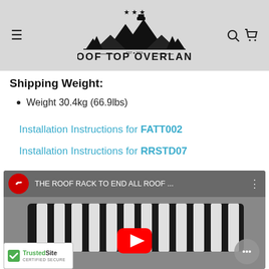ROOF TOP OVERLAND
Shipping Weight:
Weight 30.4kg (66.9lbs)
Installation Instructions for FATT002
Installation Instructions for RRSTD07
[Figure (screenshot): YouTube video thumbnail showing a roof rack with title 'THE ROOF RACK TO END ALL ROOF ...']